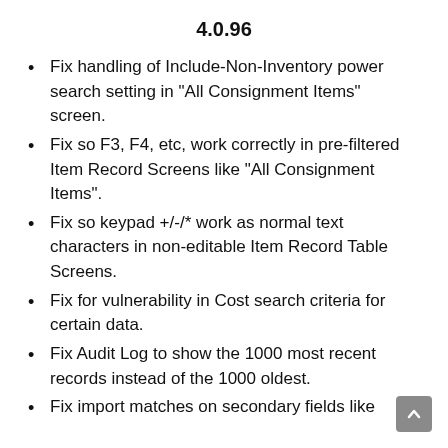4.0.96
Fix handling of Include-Non-Inventory power search setting in “All Consignment Items” screen.
Fix so F3, F4, etc, work correctly in pre-filtered Item Record Screens like “All Consignment Items”.
Fix so keypad +/-/* work as normal text characters in non-editable Item Record Table Screens.
Fix for vulnerability in Cost search criteria for certain data.
Fix Audit Log to show the 1000 most recent records instead of the 1000 oldest.
Fix import matches on secondary fields like